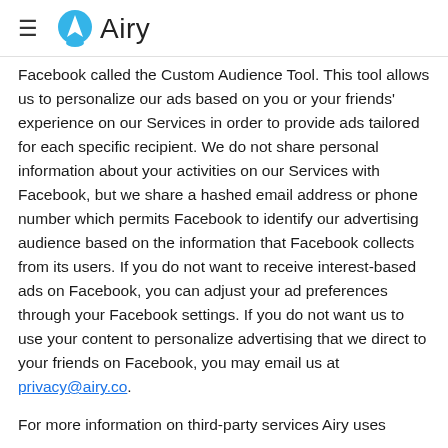Airy
Facebook called the Custom Audience Tool. This tool allows us to personalize our ads based on you or your friends' experience on our Services in order to provide ads tailored for each specific recipient. We do not share personal information about your activities on our Services with Facebook, but we share a hashed email address or phone number which permits Facebook to identify our advertising audience based on the information that Facebook collects from its users. If you do not want to receive interest-based ads on Facebook, you can adjust your ad preferences through your Facebook settings. If you do not want us to use your content to personalize advertising that we direct to your friends on Facebook, you may email us at privacy@airy.co.
For more information on third-party services Airy uses